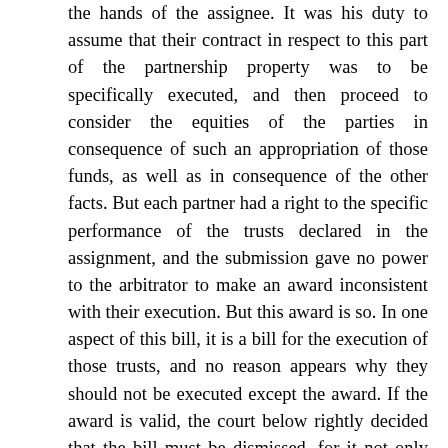the hands of the assignee. It was his duty to assume that their contract in respect to this part of the partnership property was to be specifically executed, and then proceed to consider the equities of the parties in consequence of such an appropriation of those funds, as well as in consequence of the other facts. But each partner had a right to the specific performance of the trusts declared in the assignment, and the submission gave no power to the arbitrator to make an award inconsistent with their execution. But this award is so. In one aspect of this bill, it is a bill for the execution of those trusts, and no reason appears why they should not be executed except the award. If the award is valid, the court below rightly decided that the bill must be dismissed, for it not only bars the general account of the partnership transactions, but destroys the particular trusts created by the assignment in favor of each partner, in respect to the proceeds of the choses in action assigned. It it appears and we assume that the